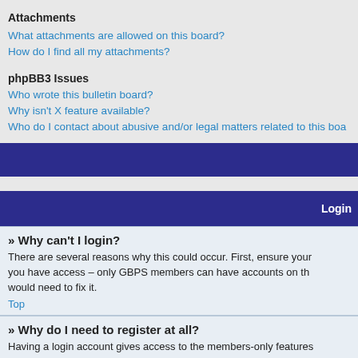Attachments
What attachments are allowed on this board?
How do I find all my attachments?
phpBB3 Issues
Who wrote this bulletin board?
Why isn't X feature available?
Who do I contact about abusive and/or legal matters related to this board?
Login
» Why can't I login?
There are several reasons why this could occur. First, ensure your you have access – only GBPS members can have accounts on th would need to fix it.
Top
» Why do I need to register at all?
Having a login account gives access to the members-only features on the discussion boards, as opposed to simply read them) memb images, private messaging, emailing of fellow users, thread and fo
Top
» Why do I get logged off automatically?